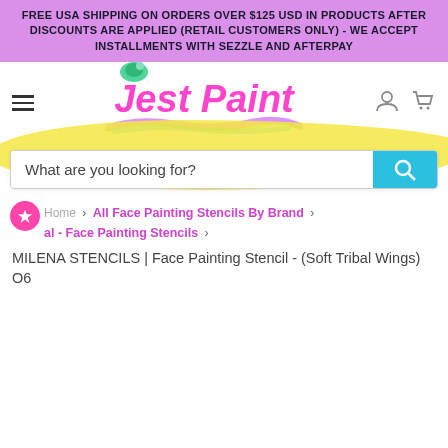FREE USA SHIPPING ON ORDERS OVER $125 USD IN PRODUCTS AFTER DISCOUNTS ARE APPLIED (RETAIL CUSTOMERS ONLY) - WE ACCEPT INSTALLMENTS WITH SEZZLE AND AFTERPAY
[Figure (logo): Jest Paint logo with pink cursive text and decorative bird, colorful paint stroke underline]
What are you looking for?
Home > All Face Painting Stencils By Brand > al - Face Painting Stencils > MILENA STENCILS | Face Painting Stencil - (Soft Tribal Wings) O6